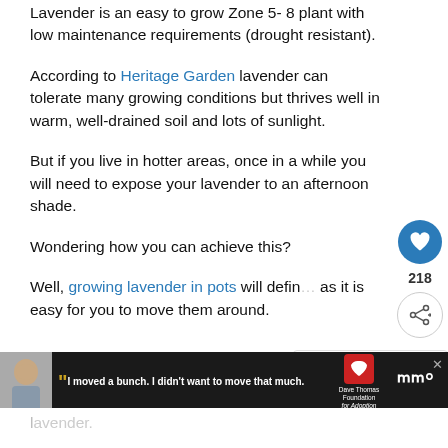Lavender is an easy to grow Zone 5- 8 plant with low maintenance requirements (drought resistant).
According to Heritage Garden lavender can tolerate many growing conditions but thrives well in warm, well-drained soil and lots of sunlight.
But if you live in hotter areas, once in a while you will need to expose your lavender to an afternoon shade.
Wondering how you can achieve this?
Well, growing lavender in pots will defin... as it is easy for you to move them around.
[Figure (infographic): Ad banner with dark background, photo of a boy, quote text 'I moved a bunch. I didn't want to move that much.', Dave Thomas Foundation for Adoption logo, and a brand logo on the right. Close button visible.]
[Figure (infographic): What's Next widget showing 'Best Beets Companion...' with a thumbnail image of beets in a garden.]
[Figure (infographic): Heart/like button (blue circle) showing 218 likes, and a share button below it.]